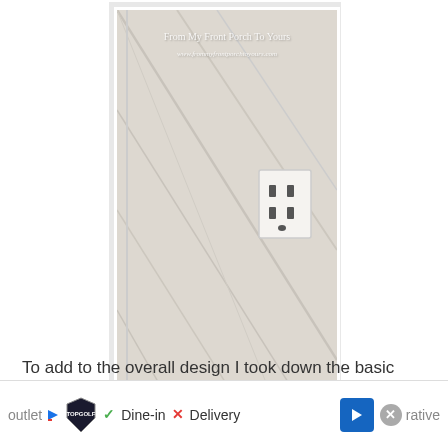[Figure (photo): A white painted wall with diagonal board and batten paneling, a white electrical outlet cover visible on the right side, white baseboard trim at the bottom, and a paint brush in a paint can at the lower left. A watermark reads 'From My Front Porch To Yours' and the website URL.]
To add to the overall design I took down the basic
outlet                                                                                              rative
ones                                                                                            l and
[Figure (screenshot): Advertisement bar at the bottom showing Topgolf logo with checkmark Dine-in and X Delivery options, a blue navigation arrow, and a close button.]